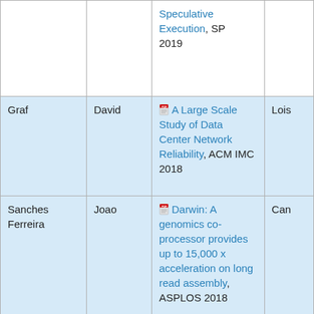| Last Name | First Name | Publication | Advisor |
| --- | --- | --- | --- |
|  |  | Speculative Execution, SP 2019 |  |
| Graf | David | A Large Scale Study of Data Center Network Reliability, ACM IMC 2018 | Lois |
| Sanches Ferreira | Joao | Darwin: A genomics co-processor provides up to 15,000 x acceleration on long read assembly, ASPLOS 2018 | Can |
| Giannoula | Christina | Mosaic: Enabling Application... | Juan |